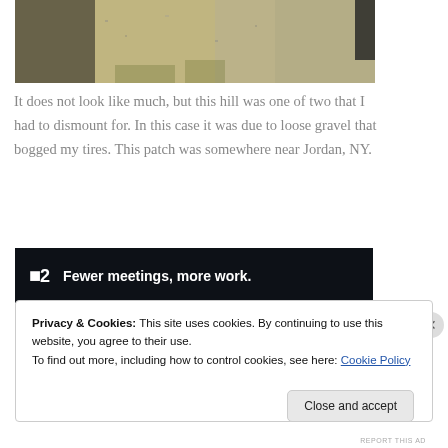[Figure (photo): Outdoor photo of a gravel path or dirt road with sparse dry grass, showing a hill. Shadow visible on left side. Partial view of a person on the right edge.]
It does not look like much, but this hill was one of two that I had to dismount for. In this case it was due to loose gravel that bogged my tires. This patch was somewhere near Jordan, NY.
[Figure (other): Advertisement banner with dark background. Shows a logo with dot and number 2, followed by text: Fewer meetings, more work.]
REPORT THIS AD
Privacy & Cookies: This site uses cookies. By continuing to use this website, you agree to their use.
To find out more, including how to control cookies, see here: Cookie Policy
Close and accept
REPORT THIS AD